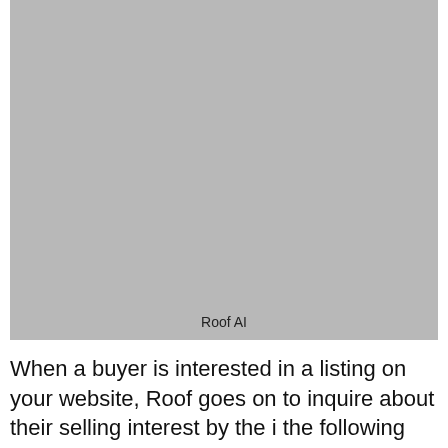[Figure (photo): A large gray placeholder image with the label 'Roof AI' centered at the bottom]
Roof AI
When a buyer is interested in a listing on your website, Roof goes on to inquire about their selling interest by the i the following